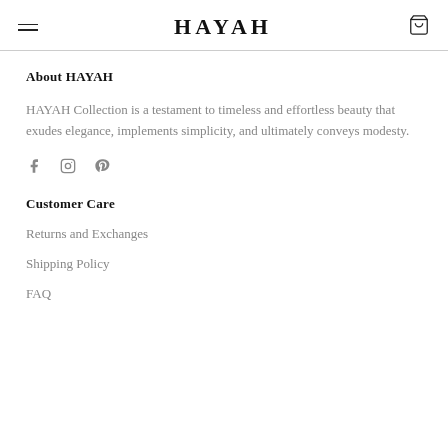HAYAH
About HAYAH
HAYAH Collection is a testament to timeless and effortless beauty that exudes elegance, implements simplicity, and ultimately conveys modesty.
[Figure (illustration): Social media icons: Facebook, Instagram, Pinterest]
Customer Care
Returns and Exchanges
Shipping Policy
FAQ